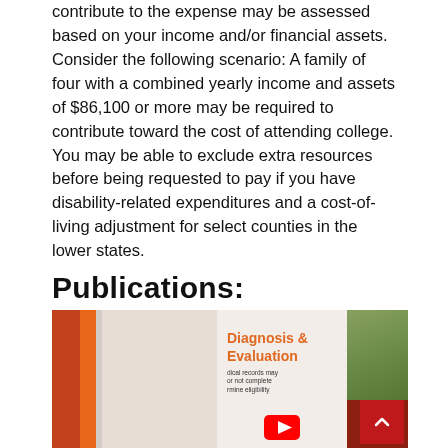contribute to the expense may be assessed based on your income and/or financial assets. Consider the following scenario: A family of four with a combined yearly income and assets of $86,100 or more may be required to contribute toward the cost of attending college. You may be able to exclude extra resources before being requested to pay if you have disability-related expenditures and a cost-of-living adjustment for select counties in the lower states.
Publications:
[Figure (illustration): Two publication thumbnails side by side. Left thumbnail shows an orange/red graphic design panel. Middle section shows 'Diagnosis & Evaluation' text in orange with small text below about medical records. A red YouTube play button icon is partially visible. Right thumbnail shows a person (woman) outdoors with a red panel below, and a red scroll-to-top button in the bottom right corner.]